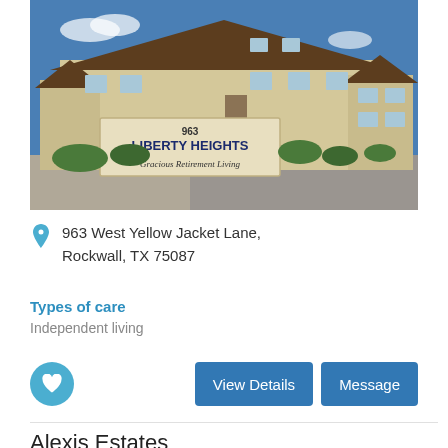[Figure (photo): Exterior photo of Liberty Heights Gracious Retirement Living facility showing a large beige multi-story building with stone accents, landscaping, and a prominent sign reading '963 LIBERTY HEIGHTS Gracious Retirement Living']
963 West Yellow Jacket Lane, Rockwall, TX 75087
Types of care
Independent living
Alexis Estates